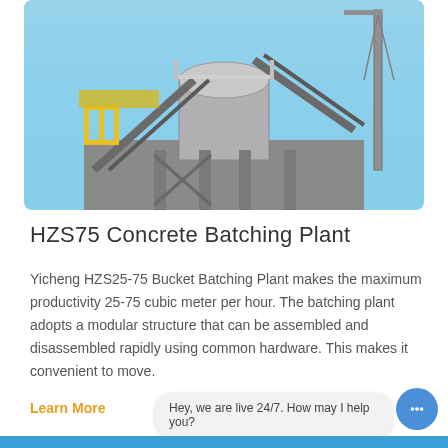[Figure (photo): Industrial concrete batching plant machinery with yellow railings, metal framework, conveyor belts, and a tall crane structure against a blue sky.]
HZS75 Concrete Batching Plant
Yicheng HZS25-75 Bucket Batching Plant makes the maximum productivity 25-75 cubic meter per hour. The batching plant adopts a modular structure that can be assembled and disassembled rapidly using common hardware. This makes it convenient to move.
Learn More
Hey, we are live 24/7. How may I help you?